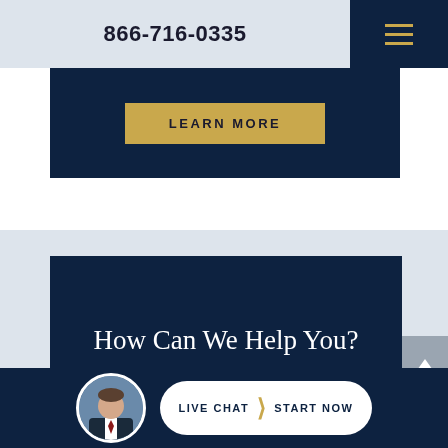866-716-0335
[Figure (other): Navigation hamburger menu icon with three gold horizontal lines on dark navy background]
[Figure (other): Dark navy section with LEARN MORE button in gold/tan border]
How Can We Help You?
[Figure (other): Live Chat Start Now button with attorney avatar photo in circle]